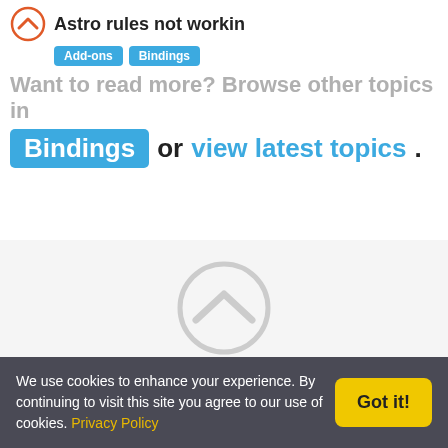Astro rules not workin
Add-ons  Bindings
Want to read more? Browse other topics in Bindings or view latest topics.
[Figure (logo): openHAB logo — circle with upward chevron, gray tones]
Copyright © 2021 by the openHAB Community and the openHAB Foundation e.V.
Privacy policy | Imprint
[Figure (illustration): Three social media icons: Twitter bird, email envelope, and another icon, rendered in dark gray]
We use cookies to enhance your experience. By continuing to visit this site you agree to our use of cookies. Privacy Policy